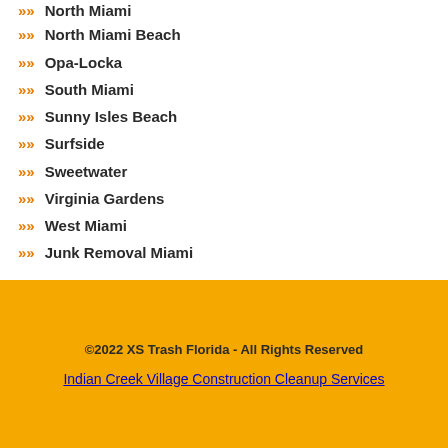North Miami
North Miami Beach
Opa-Locka
South Miami
Sunny Isles Beach
Surfside
Sweetwater
Virginia Gardens
West Miami
Junk Removal Miami
©2022 XS Trash Florida - All Rights Reserved
Indian Creek Village Construction Cleanup Services